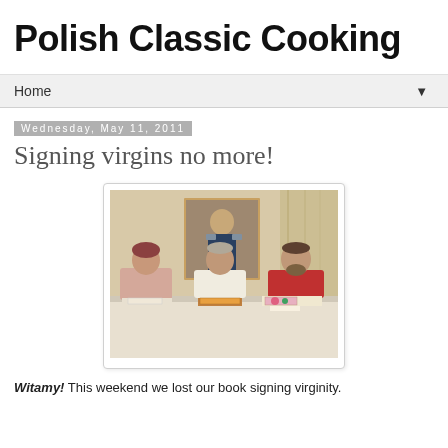Polish Classic Cooking
Home
Wednesday, May 11, 2011
Signing virgins no more!
[Figure (photo): Three people seated at a table covered with a white cloth, with books in front of them including one with a colorful cover. A framed portrait painting hangs on the wall behind them.]
Witamy! This weekend we lost our book signing virginity.